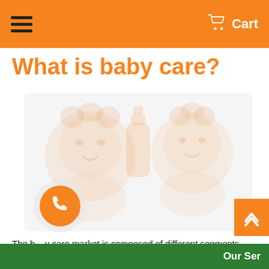Cart
What is baby care?
[Figure (illustration): Watermark/placeholder image of baby care products (baby, bottles, items) shown in faded orange tones on a light background]
The baby care market is composed of different segments and products such as toys, feeding accessories, wipes, disposable diapers, body care products and soothers, to name a few.
Our Ser